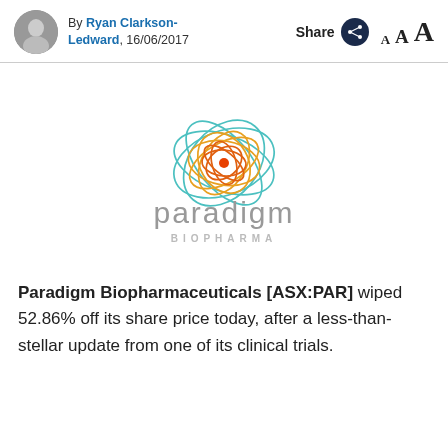By Ryan Clarkson-Ledward, 16/06/2017
[Figure (logo): Paradigm Biopharma logo: abstract tangled ellipses in teal, orange and gold colors with an orange dot center, above the word 'paradigm' in grey and 'BIOPHARMA' in small grey caps]
Paradigm Biopharmaceuticals [ASX:PAR] wiped 52.86% off its share price today, after a less-than-stellar update from one of its clinical trials.